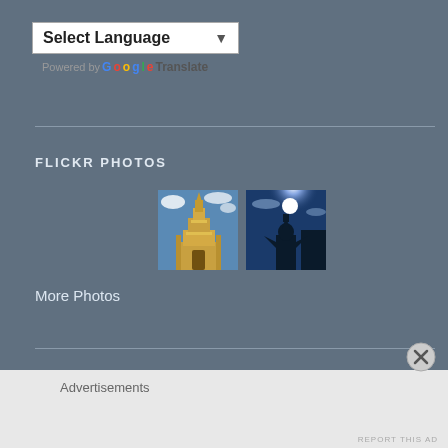[Figure (screenshot): Select Language dropdown widget with Google Translate branding]
FLICKR PHOTOS
[Figure (photo): Photograph of a golden temple/pagoda against blue sky]
[Figure (photo): Photograph of a statue silhouette against bright blue sky with sun]
More Photos
Advertisements
REPORT THIS AD